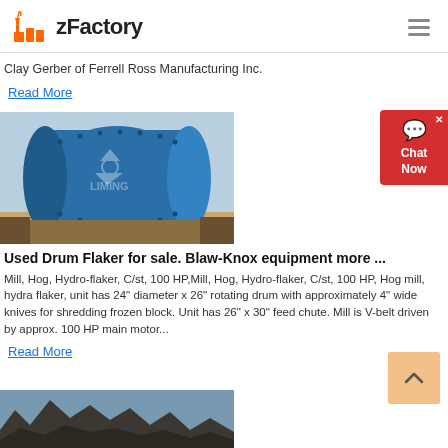zFactory
Clay Gerber of Ferrell Ross Manufacturing Inc.
Read More
[Figure (photo): Blue industrial ball mill / drum flaker machine outdoors, branded LIMING]
Used Drum Flaker for sale. Blaw-Knox equipment more ...
Mill, Hog, Hydro-flaker, C/st, 100 HP,Mill, Hog, Hydro-flaker, C/st, 100 HP, Hog mill, hydra flaker, unit has 24" diameter x 26" rotating drum with approximately 4" wide knives for shredding frozen block. Unit has 26" x 30" feed chute. Mill is V-belt driven by approx. 100 HP main motor...
Read More
[Figure (photo): Rocky terrain / dark mineral aggregate outdoors]